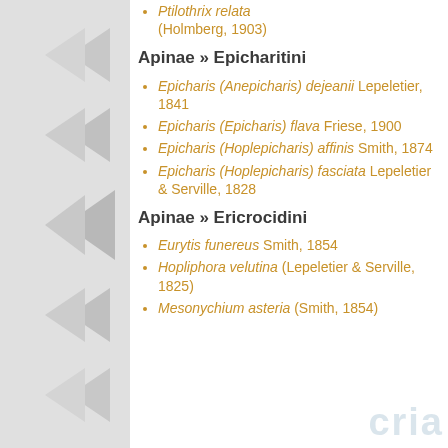Ptilothrix relata (Holmberg, 1903)
Apinae » Epicharitini
Epicharis (Anepicharis) dejeanii Lepeletier, 1841
Epicharis (Epicharis) flava Friese, 1900
Epicharis (Hoplepicharis) affinis Smith, 1874
Epicharis (Hoplepicharis) fasciata Lepeletier & Serville, 1828
Apinae » Ericrocidini
Eurytis funereus Smith, 1854
Hopliphora velutina (Lepeletier & Serville, 1825)
Mesonychium asteria (Smith, 1854)